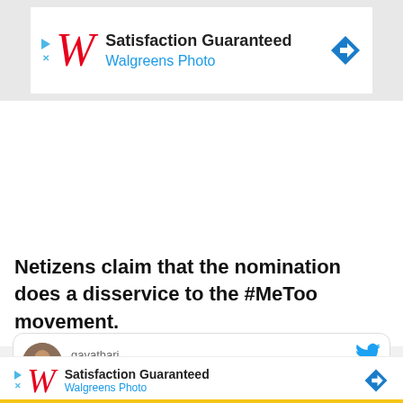[Figure (screenshot): Walgreens Photo advertisement banner — Satisfaction Guaranteed, with red W script logo, blue text, and blue diamond directional arrow icon]
Netizens claim that the nomination does a disservice to the #MeToo movement.
[Figure (screenshot): Partial tweet card with user avatar (person photo), username 'gavathari' partially visible, Twitter bird icon in blue, overlaid by second Walgreens Photo ad]
[Figure (screenshot): Second Walgreens Photo advertisement — Satisfaction Guaranteed, with red W script logo, blue Walgreens Photo text, and blue diamond arrow icon]